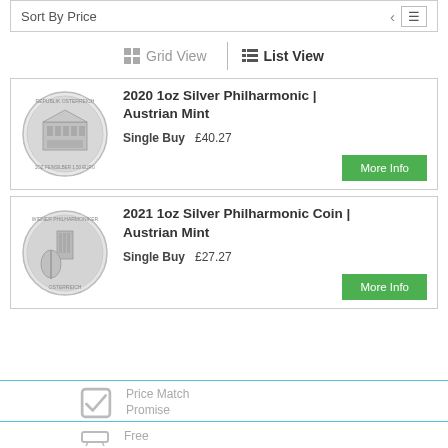Sort By Price
Grid View | List View
[Figure (photo): Silver coin - 2020 Austrian Mint Philharmonic, showing the front facade of the Musikverein concert hall with text REPUBLIK OSTERREICH and 1OZ FEINSILBER 1.50 EURO]
2020 1oz Silver Philharmonic | Austrian Mint
Single Buy £40.27
[Figure (photo): Silver coin - 2021 Austrian Mint Philharmonic, showing musical instruments including pipe organ and cello]
2021 1oz Silver Philharmonic Coin | Austrian Mint
Single Buy £27.27
Price Match Promise
Free